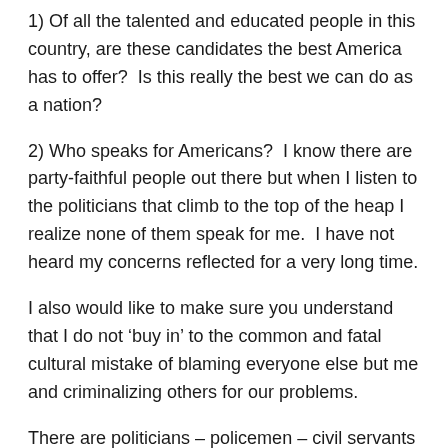1) Of all the talented and educated people in this country, are these candidates the best America has to offer?  Is this really the best we can do as a nation?
2) Who speaks for Americans?  I know there are party-faithful people out there but when I listen to the politicians that climb to the top of the heap I realize none of them speak for me.  I have not heard my concerns reflected for a very long time.
I also would like to make sure you understand that I do not ‘buy in’ to the common and fatal cultural mistake of blaming everyone else but me and criminalizing others for our problems.
There are politicians – policemen – civil servants – lawyers – teachers – people of faith – people without formal religious beliefs – immigrants – poor – or rich – that